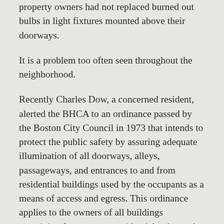property owners had not replaced burned out bulbs in light fixtures mounted above their doorways.
It is a problem too often seen throughout the neighborhood.
Recently Charles Dow, a concerned resident, alerted the BHCA to an ordinance passed by the Boston City Council in 1973 that intends to protect the public safety by assuring adequate illumination of all doorways, alleys, passageways, and entrances to and from residential buildings used by the occupants as a means of access and egress. This ordinance applies to the owners of all buildings containing four or more residential units, and includes adjacent parking areas.
The intensity of illumination to be provided, according to the ordinance, is at least three foot candles per square foot at the floor level and at least one foot